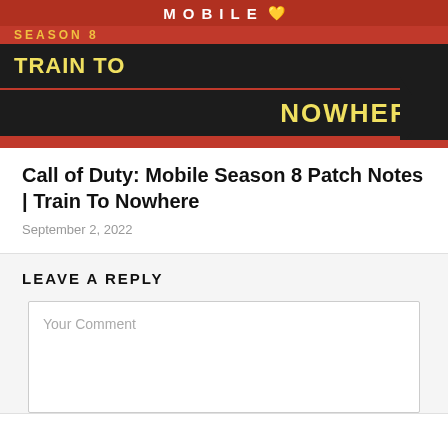[Figure (photo): Call of Duty Mobile Season 8 Train To Nowhere promotional banner with red background, black horizontal bars, and yellow bold text reading SEASON 8 TRAIN TO NOWHERE]
Call of Duty: Mobile Season 8 Patch Notes | Train To Nowhere
September 2, 2022
LEAVE A REPLY
Your Comment